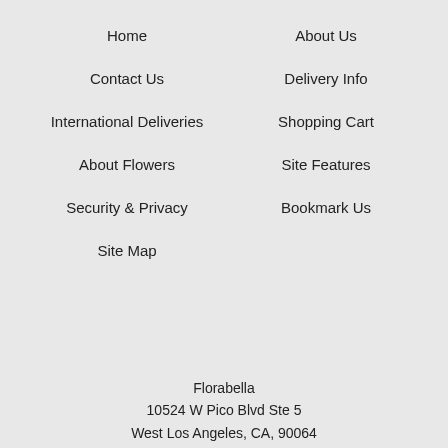Home
About Us
Contact Us
Delivery Info
International Deliveries
Shopping Cart
About Flowers
Site Features
Security & Privacy
Bookmark Us
Site Map
Florabella
10524 W Pico Blvd Ste 5
West Los Angeles, CA, 90064